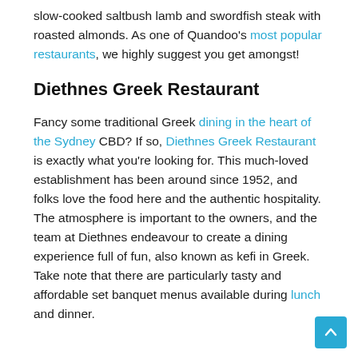slow-cooked saltbush lamb and swordfish steak with roasted almonds. As one of Quandoo's most popular restaurants, we highly suggest you get amongst!
Diethnes Greek Restaurant
Fancy some traditional Greek dining in the heart of the Sydney CBD? If so, Diethnes Greek Restaurant is exactly what you're looking for. This much-loved establishment has been around since 1952, and folks love the food here and the authentic hospitality. The atmosphere is important to the owners, and the team at Diethnes endeavour to create a dining experience full of fun, also known as kefi in Greek. Take note that there are particularly tasty and affordable set banquet menus available during lunch and dinner.